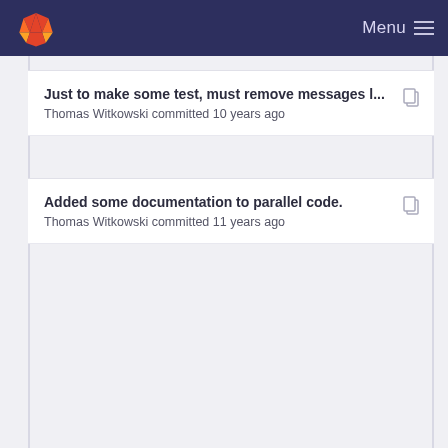[Figure (screenshot): GitLab navigation bar with logo and Menu button on dark navy background]
Just to make some test, must remove messages l...
Thomas Witkowski committed 10 years ago
Added some documentation to parallel code.
Thomas Witkowski committed 11 years ago